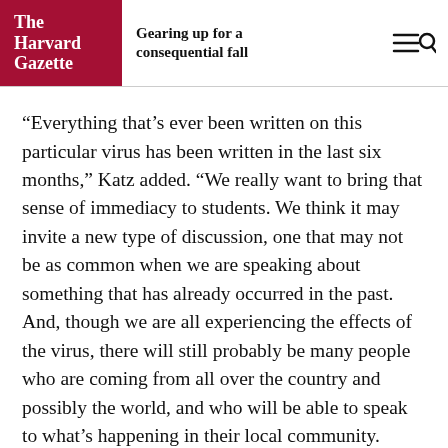The Harvard Gazette
Gearing up for a consequential fall
“Everything that’s ever been written on this particular virus has been written in the last six months,” Katz added. “We really want to bring that sense of immediacy to students. We think it may invite a new type of discussion, one that may not be as common when we are speaking about something that has already occurred in the past. And, though we are all experiencing the effects of the virus, there will still probably be many people who are coming from all over the country and possibly the world, and who will be able to speak to what’s happening in their local community. What an exciting moment to be exchanging with each other, to be in this together.”